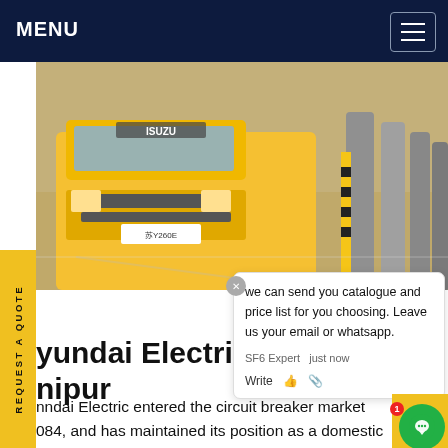MENU
[Figure (photo): Yellow Isuzu truck at an industrial or construction site with large metal pipes/cylinders in the background on sandy ground.]
Hyundai Electric S.F.6 Manipur
Hyundai Electric entered the circuit breaker market in 1984, and has maintained its position as a domestic leader in the field for the past 30 years, supplying its products to 40 countries worldwide. Using the latest facilities and production systems in line with the latest international standards and more than the
we can send you catalogue and price list for you choosing. Leave us your email or whatsapp.
SF6 Expert   just now
Write